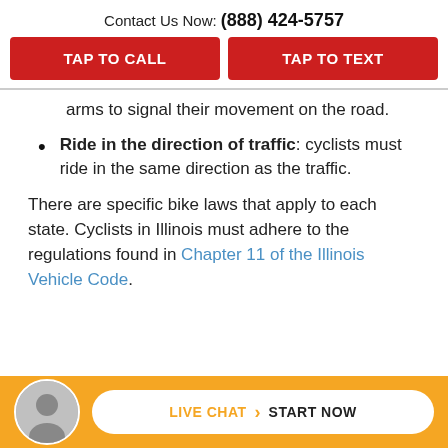Contact Us Now: (888) 424-5757
TAP TO CALL
TAP TO TEXT
arms to signal their movement on the road.
Ride in the direction of traffic: cyclists must ride in the same direction as the traffic.
There are specific bike laws that apply to each state. Cyclists in Illinois must adhere to the regulations found in Chapter 11 of the Illinois Vehicle Code.
LIVE CHAT › START NOW